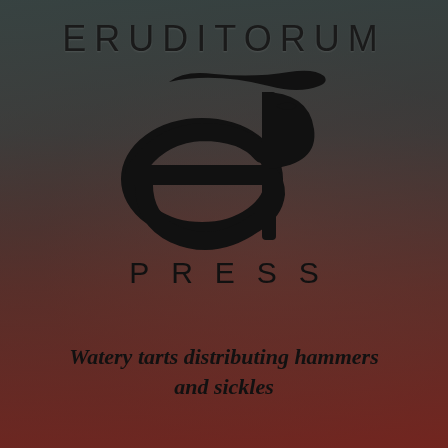[Figure (logo): Eruditorum Press logo: stylized 'EP' monogram with a large curved 'e' and 'P' letter merged, with the word ERUDITORUM above and PRESS below in spaced capitals]
Watery tarts distributing hammers and sickles